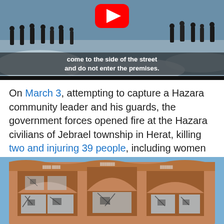[Figure (screenshot): Video screenshot showing people in winter scene with snow, with subtitle text: 'come to the side of the street and do not enter the premises.' and YouTube play button overlay]
On March 3, attempting to capture a Hazara community leader and his guards, the government forces opened fire at the Hazara civilians of Jebrael township in Herat, killing two and injuring 39 people, including women and children.
[Figure (photo): Photo of a damaged brick building with arched windows, windows shattered and broken, against a blue sky]